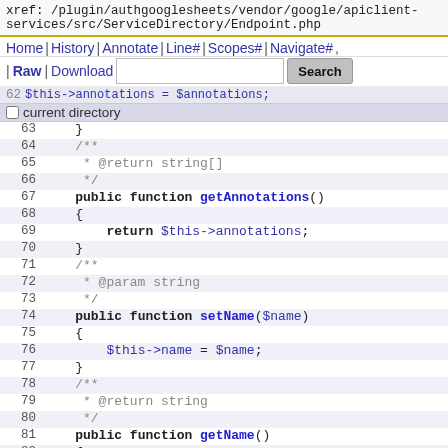xref: /plugin/authgooglesheets/vendor/google/apiclient-services/src/ServiceDirectory/Endpoint.php
Home | History | Annotate | Line# | Scopes# | Navigate# | Raw | Download  [search box] Search
current directory
62  $this->annotations = $annotations;
63  }
64    /**
65    * @return string[]
66    */
67    public function getAnnotations()
68    {
69        return $this->annotations;
70    }
71    /**
72    * @param string
73    */
74    public function setName($name)
75    {
76        $this->name = $name;
77    }
78    /**
79    * @return string
80    */
81    public function getName()
82    {
83        return $this->name;
84    }
85    /**